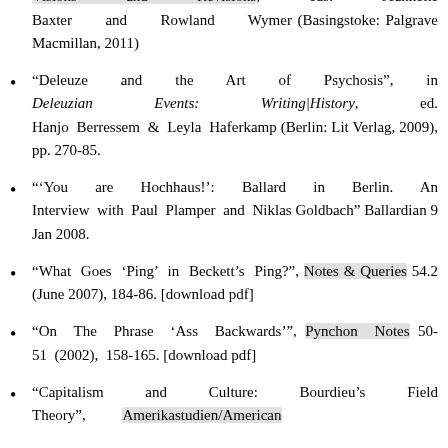Ballard's Fictions", in J. G. Ballard: Visions and Revisions, eds. Jeannette Baxter and Rowland Wymer (Basingstoke: Palgrave Macmillan, 2011)
"Deleuze and the Art of Psychosis", in Deleuzian Events: Writing|History, ed. Hanjo Berressem & Leyla Haferkamp (Berlin: Lit Verlag, 2009), pp. 270-85.
"'You are Hochhaus!': Ballard in Berlin. An Interview with Paul Plamper and Niklas Goldbach" Ballardian 9 Jan 2008.
"What Goes ‘Ping’ in Beckett’s Ping?", Notes & Queries 54.2 (June 2007), 184-86. [download pdf]
"On The Phrase ‘Ass Backwards’", Pynchon Notes 50-51 (2002), 158-165. [download pdf]
"Capitalism and Culture: Bourdieu’s Field Theory", Amerikastudien/American